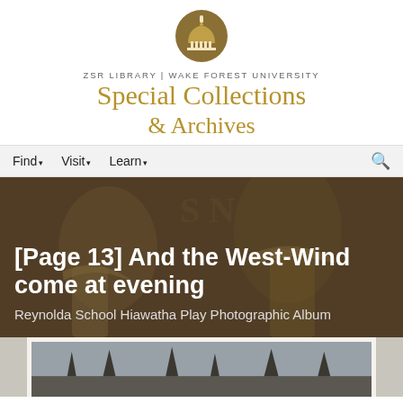[Figure (logo): ZSR Library Wake Forest University Special Collections & Archives logo with golden dome icon and gold serif text]
ZSR LIBRARY | WAKE FOREST UNIVERSITY
Special Collections & Archives
Find ▾   Visit ▾   Learn ▾
[Page 13] And the West-Wind come at evening
Reynolda School Hiawatha Play Photographic Album
[Figure (photo): Partial view of a mounted photograph showing an outdoor scene, displayed at the bottom of the page]